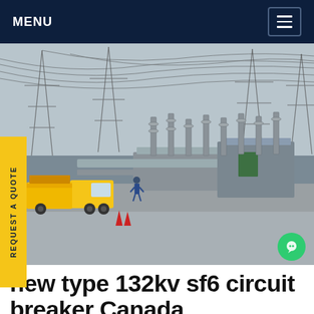MENU
[Figure (photo): Outdoor high-voltage electrical substation with tall steel lattice transmission towers, multiple insulators, gray GIS equipment, pipework, and a yellow utility truck on a gravel access road. A worker in a blue uniform is visible. Overcast sky.]
REQUEST A QUOTE
new type 132kv sf6 circuit breaker Canada